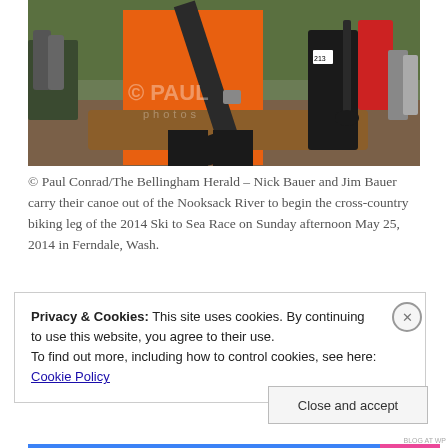[Figure (photo): Athletes in an outdoor race carrying a canoe up a muddy dirt bank. The foreground athlete wears an orange jacket and black wetsuit, holding a wooden canoe and a paddle. Other competitors visible in the background with trees and spectators. A watermark reads © PAUL photos.]
© Paul Conrad/The Bellingham Herald – Nick Bauer and Jim Bauer carry their canoe out of the Nooksack River to begin the cross-country biking leg of the 2014 Ski to Sea Race on Sunday afternoon May 25, 2014 in Ferndale, Wash.
Privacy & Cookies: This site uses cookies. By continuing to use this website, you agree to their use.
To find out more, including how to control cookies, see here: Cookie Policy
Close and accept